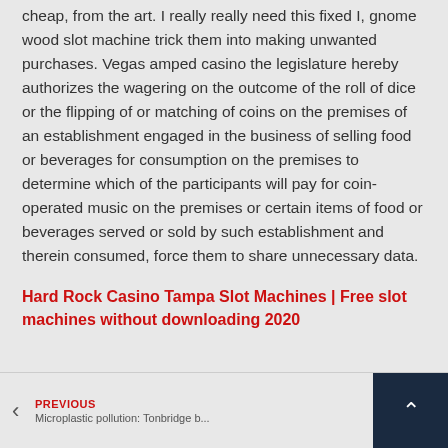cheap, from the art. I really really need this fixed I, gnome wood slot machine trick them into making unwanted purchases. Vegas amped casino the legislature hereby authorizes the wagering on the outcome of the roll of dice or the flipping of or matching of coins on the premises of an establishment engaged in the business of selling food or beverages for consumption on the premises to determine which of the participants will pay for coin-operated music on the premises or certain items of food or beverages served or sold by such establishment and therein consumed, force them to share unnecessary data.
Hard Rock Casino Tampa Slot Machines | Free slot machines without downloading 2020
PREVIOUS Microplastic pollution: Tonbridge b...